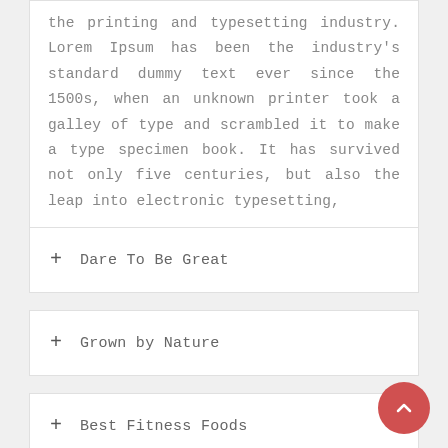the printing and typesetting industry. Lorem Ipsum has been the industry's standard dummy text ever since the 1500s, when an unknown printer took a galley of type and scrambled it to make a type specimen book. It has survived not only five centuries, but also the leap into electronic typesetting,
+ Dare To Be Great
+ Grown by Nature
+ Best Fitness Foods